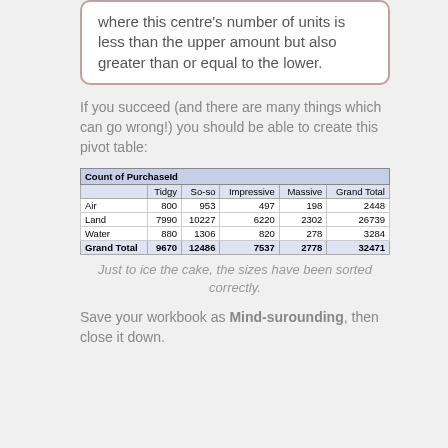where this centre's number of units is less than the upper amount but also greater than or equal to the lower.
If you succeed (and there are many things which can go wrong!) you should be able to create this pivot table:
| Count of PurchaseId | Tidgy | So-so | Impressive | Massive | Grand Total |
| --- | --- | --- | --- | --- | --- |
| Air | 800 | 953 | 497 | 198 | 2448 |
| Land | 7990 | 10227 | 6220 | 2302 | 26739 |
| Water | 880 | 1306 | 820 | 278 | 3284 |
| Grand Total | 9670 | 12486 | 7537 | 2778 | 32471 |
Just to ice the cake, the sizes have been sorted correctly.
Save your workbook as Mind-surounding, then close it down.